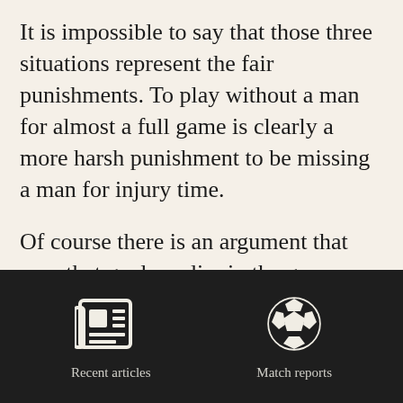It is impossible to say that those three situations represent the fair punishments. To play without a man for almost a full game is clearly a more harsh punishment to be missing a man for injury time.
Of course there is an argument that says that goals earlier in the games are more formative of the match and thus important than goals later in the game and so a player denying a goal or goal
[Figure (illustration): Dark footer bar with two icon buttons: a newspaper/article icon labeled 'Recent articles' and a soccer ball icon labeled 'Match reports']